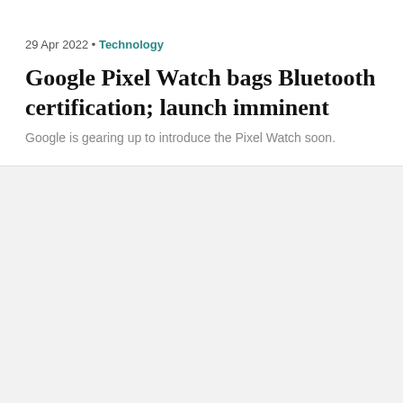29 Apr 2022 • Technology
Google Pixel Watch bags Bluetooth certification; launch imminent
Google is gearing up to introduce the Pixel Watch soon.